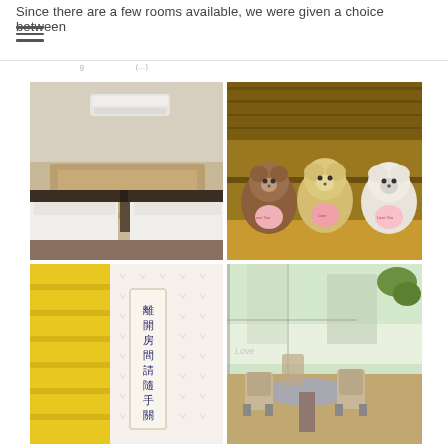Since there are a few rooms available, we were given a choice between
[Figure (photo): Four hotel room photos in a 2x2 grid: top-left shows a twin bedroom with white bedding and wood headboard and wall-mounted AC unit; top-right shows three teddy bears (brown, yellow, white) on a wooden shelf holding pink heart pillows; bottom-left shows yellow stairs and a vertical Chinese sign reading 離開房間請隨手關燈及...; bottom-right shows a cafe seating area with wicker chairs and a round table near large windows with greenery]